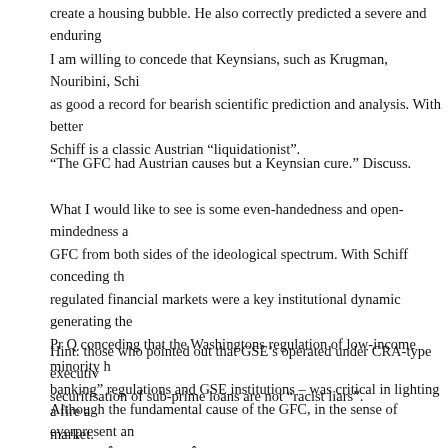create a housing bubble. He also correctly predicted a severe and enduring
I am willing to concede that Keynsians, such as Krugman, Nouribini, Schi as good a record for bearish scientific prediction and analysis. With better Schiff is a classic Austrian “liquidationist”.
“The GFC had Austrian causes but a Keynsian cure.” Discuss.
What I would like to see is some even-handedness and open-mindedness a GFC from both sides of the ideological spectrum. With Schiff conceding th regulated financial markets were a key institutional dynamic generating th Pr Q conceding that the Washingtons regulation of low-income minority h banking” regulations and GSE institutions – was critical in lighting a fire a market.
Hint: those who pointed out that GSE’s operated under CRA-type executi securitisation of sub-prime loans are not “racist liars”.
Although the fundamental cause of the GFC, in the sense of everpresent a pervasiveÂ institutionalÂ factor, was private banks white collar crime wav